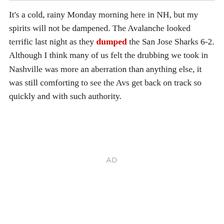It's a cold, rainy Monday morning here in NH, but my spirits will not be dampened. The Avalanche looked terrific last night as they dumped the San Jose Sharks 6-2. Although I think many of us felt the drubbing we took in Nashville was more an aberration than anything else, it was still comforting to see the Avs get back on track so quickly and with such authority.
AD